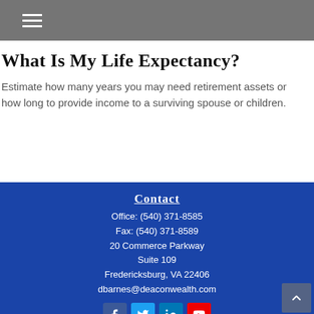Navigation menu (hamburger icon)
What Is My Life Expectancy?
Estimate how many years you may need retirement assets or how long to provide income to a surviving spouse or children.
Contact
Office: (540) 371-8585
Fax: (540) 371-8589
20 Commerce Parkway
Suite 109
Fredericksburg, VA 22406
dbarnes@deaconwealth.com
[Figure (infographic): Social media icons: Facebook, Twitter, LinkedIn, YouTube]